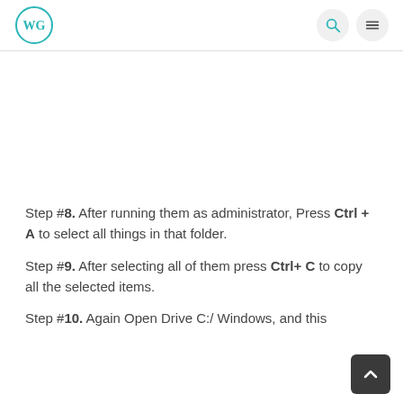WG logo with search and menu icons
Step #8. After running them as administrator, Press Ctrl + A to select all things in that folder.
Step #9. After selecting all of them press Ctrl+ C to copy all the selected items.
Step #10. Again Open Drive C:/ Windows, and this